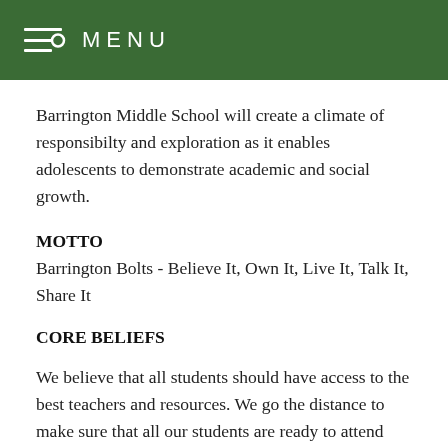MENU
Barrington Middle School will create a climate of responsibilty and exploration as it enables adolescents to demonstrate academic and social growth.
MOTTO
Barrington Bolts - Believe It, Own It, Live It, Talk It, Share It
CORE BELIEFS
We believe that all students should have access to the best teachers and resources. We go the distance to make sure that all our students are ready to attend college. We hold ourselves-both students and adults